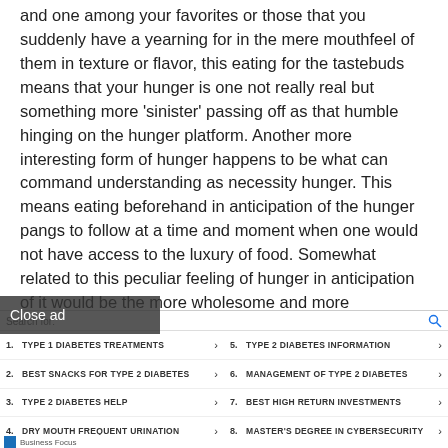and one among your favorites or those that you suddenly have a yearning for in the mere mouthfeel of them in texture or flavor, this eating for the tastebuds means that your hunger is one not really real but something more 'sinister' passing off as that humble hinging on the hunger platform. Another more interesting form of hunger happens to be what can command understanding as necessity hunger. This means eating beforehand in anticipation of the hunger pangs to follow at a time and moment when one would not have access to the luxury of food. Somewhat related to this peculiar feeling of hunger in anticipation of it would be the more wholesome and more necessary attending to the pangs of nutrient hunger. Occurring as a response to the deficiency
Close ad
Search for:
1. TYPE 1 DIABETES TREATMENTS
5. TYPE 2 DIABETES INFORMATION
2. BEST SNACKS FOR TYPE 2 DIABETES
6. MANAGEMENT OF TYPE 2 DIABETES
3. TYPE 2 DIABETES HELP
7. BEST HIGH RETURN INVESTMENTS
4. DRY MOUTH FREQUENT URINATION
8. MASTER'S DEGREE IN CYBERSECURITY
Business Focus